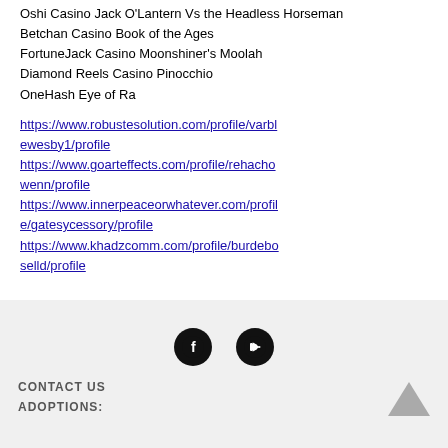Oshi Casino Jack O'Lantern Vs the Headless Horseman
Betchan Casino Book of the Ages
FortuneJack Casino Moonshiner's Moolah
Diamond Reels Casino Pinocchio
OneHash Eye of Ra
https://www.robustesolution.com/profile/varblewesby1/profile
https://www.goarteffects.com/profile/rehachowenn/profile
https://www.innerpeaceorwhatever.com/profile/gatesycessory/profile
https://www.khadzcomm.com/profile/burdeboselld/profile
[Figure (illustration): Social media icons: Facebook (f) and YouTube (play button), black circles]
CONTACT US
ADOPTIONS: